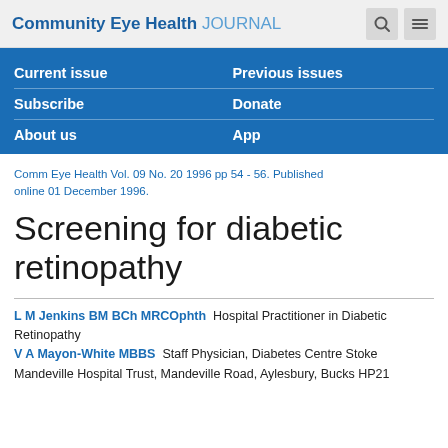Community Eye Health JOURNAL
Current issue | Previous issues | Subscribe | Donate | About us | App
Comm Eye Health Vol. 09 No. 20 1996 pp 54 - 56. Published online 01 December 1996.
Screening for diabetic retinopathy
L M Jenkins BM BCh MRCOphth  Hospital Practitioner in Diabetic Retinopathy
V A Mayon-White MBBS  Staff Physician, Diabetes Centre Stoke Mandeville Hospital Trust, Mandeville Road, Aylesbury, Bucks HP21